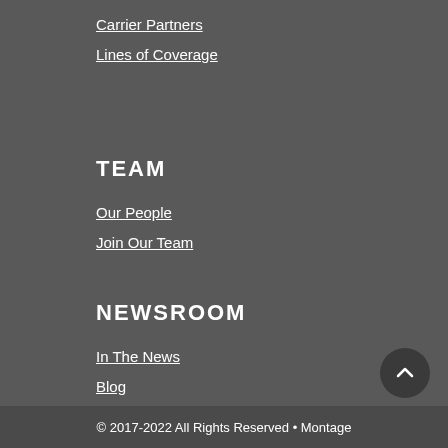Carrier Partners
Lines of Coverage
TEAM
Our People
Join Our Team
NEWSROOM
In The News
Blog
CONTACT
Contact Us
Client Login
© 2017-2022 All Rights Reserved • Montage